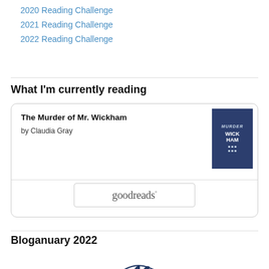2020 Reading Challenge
2021 Reading Challenge
2022 Reading Challenge
What I'm currently reading
[Figure (screenshot): Book card widget showing 'The Murder of Mr. Wickham' by Claudia Gray with book cover image, a horizontal divider, and a goodreads button]
Bloganuary 2022
[Figure (illustration): Partial illustration of a dark blue gear/cog shape for Bloganuary 2022 badge]